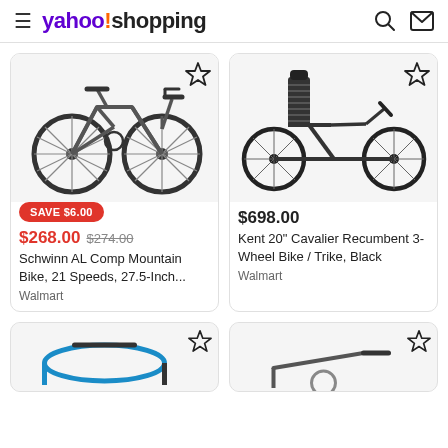yahoo!shopping
[Figure (photo): Schwinn AL Comp Mountain Bike, silver/black, 27.5-inch wheels, 21 speeds, front suspension]
SAVE $6.00
$268.00  $274.00
Schwinn AL Comp Mountain Bike, 21 Speeds, 27.5-Inch...
Walmart
[Figure (photo): Kent 20 inch Cavalier Recumbent 3-Wheel Bike / Trike, Black, with reclining seat and three wheels]
$698.00
Kent 20" Cavalier Recumbent 3-Wheel Bike / Trike, Black
Walmart
[Figure (photo): Partial view of a bike handlebar area, blue accents]
[Figure (photo): Partial view of another bike handlebar area]